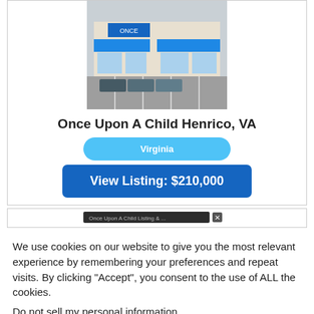[Figure (photo): Exterior photo of a Once Upon A Child store with blue awnings and parking lot]
Once Upon A Child Henrico, VA
Virginia
View Listing: $210,000
[Figure (screenshot): Partial screenshot of a listing below the main card]
We use cookies on our website to give you the most relevant experience by remembering your preferences and repeat visits. By clicking “Accept”, you consent to the use of ALL the cookies.
Do not sell my personal information.
Cookie Settings
ACCEPT